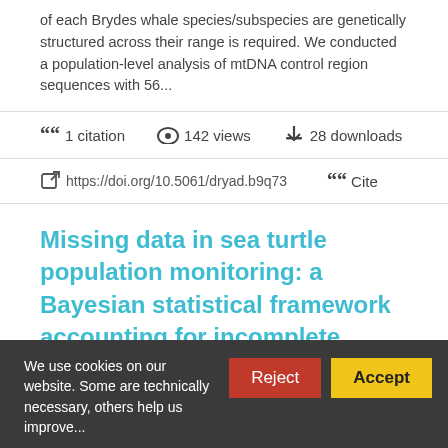of each Brydes whale species/subspecies are genetically structured across their range is required. We conducted a population-level analysis of mtDNA control region sequences with 56...
1 citation   142 views   28 downloads
https://doi.org/10.5061/dryad.b9q73   Cite
Missing data in sea turtle population monitoring: a Bayesian statistical framework accounting for incomplete sampling
We use cookies on our website. Some are technically necessary, others help us...   Reject   Accept